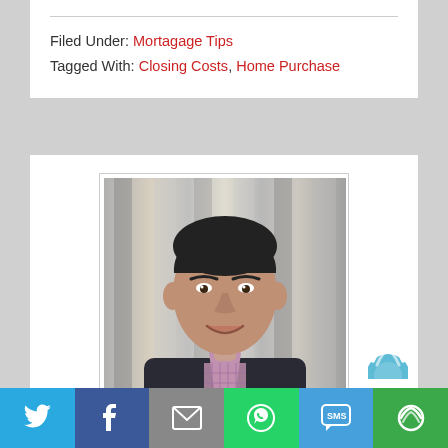Filed Under: Mortagage Tips
Tagged With: Closing Costs, Home Purchase
[Figure (photo): Professional headshot of a middle-aged man in a dark blazer and pink/purple checked shirt, smiling, with a blurred architectural background]
[Figure (infographic): Social sharing bar with icons for Twitter, Facebook, Email, WhatsApp, SMS, and another share option]